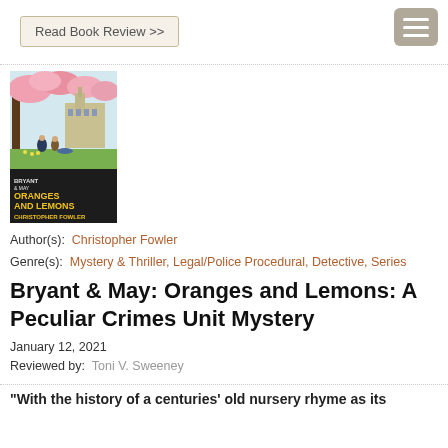Read Book Review >>
[Figure (other): Menu/hamburger button icon with three horizontal white lines on a gray rounded rectangle background]
[Figure (illustration): Book cover of 'Bryant & May: Oranges and Lemons' by Christopher Fowler. Shows colorful illustrated scene with cherry blossoms, figures in a park, and a gothic building in the background. Title text in orange/yellow on dark background at bottom.]
Author(s): Christopher Fowler
Genre(s): Mystery & Thriller, Legal/Police Procedural, Detective, Series
Bryant & May: Oranges and Lemons: A Peculiar Crimes Unit Mystery
January 12, 2021
Reviewed by: Toni V. Sweeney
“With the history of a centuries’ old nursery rhyme as its